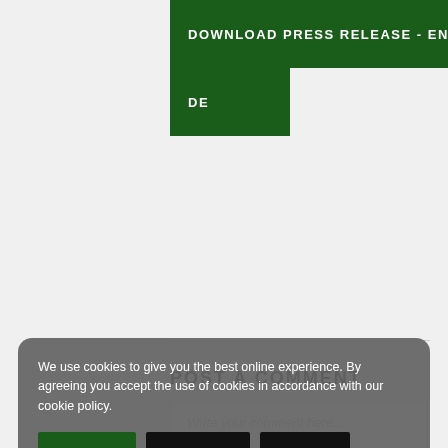[Figure (other): Green button labeled DOWNLOAD PRESS RELEASE - EN]
[Figure (other): Green button labeled DE]
POST A COMMENT
Write your comment here...
We use cookies to give you the best online experience. By agreeing you accept the use of cookies in accordance with our cookie policy.
Your full name